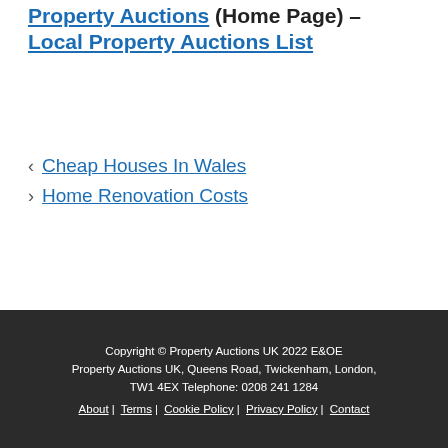Property Auctions (Home Page) – Local Property Auctions List
Cheap Houses In Wales
Home Renovation Costs
Copyright © Property Auctions UK 2022 E&OE Property Auctions UK, Queens Road, Twickenham, London, TW1 4EX Telephone: 0208 241 1284 About | Terms | Cookie Policy | Privacy Policy | Contact